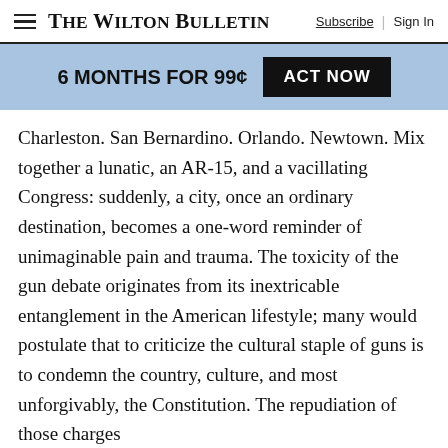The Wilton Bulletin | Subscribe | Sign In
6 MONTHS FOR 99¢  ACT NOW
Charleston. San Bernardino. Orlando. Newtown. Mix together a lunatic, an AR-15, and a vacillating Congress: suddenly, a city, once an ordinary destination, becomes a one-word reminder of unimaginable pain and trauma. The toxicity of the gun debate originates from its inextricable entanglement in the American lifestyle; many would postulate that to criticize the cultural staple of guns is to condemn the country, culture, and most unforgivably, the Constitution. The repudiation of those charges